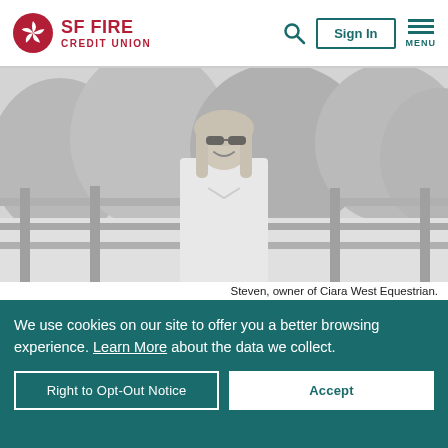[Figure (logo): SF Fire Credit Union logo with red pinwheel icon and red text]
[Figure (photo): Black and white photo of Steven, a man with sunglasses and long light hair, standing outdoors in front of a wooden fence with trees behind him, smiling]
Steven, owner of Ciara West Equestrian.
We use cookies on our site to offer you a better browsing experience. Learn More about the data we collect.
Right to Opt-Out Notice
Accept